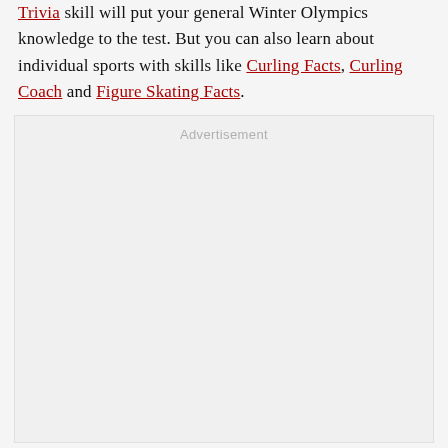Trivia skill will put your general Winter Olympics knowledge to the test. But you can also learn about individual sports with skills like Curling Facts, Curling Coach and Figure Skating Facts.
Advertisement